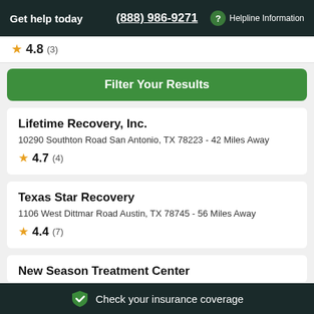Get help today  (888) 986-9271  ? Helpline Information
★ 4.8 (3)
Filter Your Results
Lifetime Recovery, Inc.
10290 Southton Road San Antonio, TX 78223 - 42 Miles Away
★ 4.7 (4)
Texas Star Recovery
1106 West Dittmar Road Austin, TX 78745 - 56 Miles Away
★ 4.4 (7)
New Season Treatment Center
✓ Check your insurance coverage